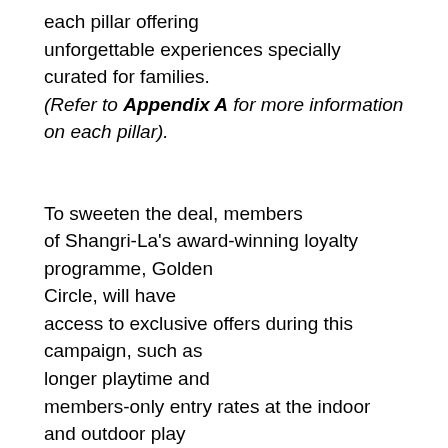each pillar offering unforgettable experiences specially curated for families. (Refer to Appendix A for more information on each pillar).
To sweeten the deal, members of Shangri-La's award-winning loyalty programme, Golden Circle, will have access to exclusive offers during this campaign, such as longer playtime and members-only entry rates at the indoor and outdoor play zones. Additionally, families will also get to enjoy member-exclusive room rates, stay credit rewards, and elevated experiences, such as a complimentary parent-child bake class with every party package booked. Members looking for dining treats also